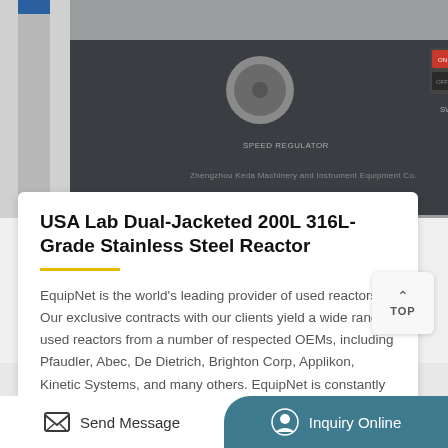[Figure (photo): Laboratory equipment photo showing a control panel with a speed regulator knob and an ON/OFF switch, with text 'Zhengzhou Keda Machinery and Instrument Equipment Co.' on the panel. Glass reactor vessel visible on the right.]
USA Lab Dual-Jacketed 200L 316L-Grade Stainless Steel Reactor
EquipNet is the world's leading provider of used reactors. Our exclusive contracts with our clients yield a wide range used reactors from a number of respected OEMs, including Pfaudler, Abec, De Dietrich, Brighton Corp, Applikon, Kinetic Systems, and many others. EquipNet is constantly receivin…